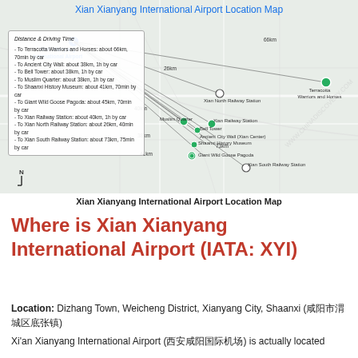[Figure (map): Xian Xianyang International Airport Location Map showing distances by road to key landmarks including Terracotta Warriors and Horses (66km), Ancient City Wall (38km), Bell Tower (38km), Muslim Quarter (38km), Shaanxi History Museum (41km), Giant Wild Goose Pagoda (45km), Xian Railway Station (40km), Xian North Railway Station (26km), Xian South Railway Station (73km). Map includes distance lines from airport location to each destination.]
Xian Xianyang International Airport Location Map
Where is Xian Xianyang International Airport (IATA: XYI)
Location: Dizhang Town, Weicheng District, Xianyang City, Shaanxi (咸阳市渭城区底张镇)
Xi'an Xianyang International Airport (西安咸阳国际机场) is actually located